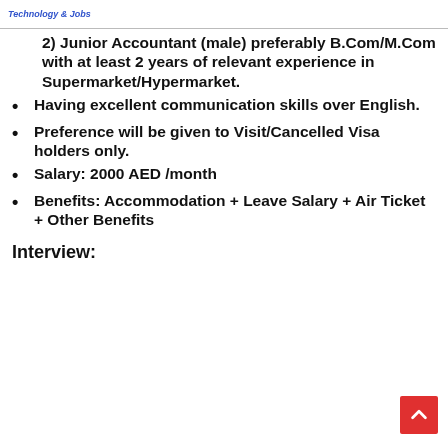Technology & Jobs
2) Junior Accountant (male) preferably B.Com/M.Com with at least 2 years of relevant experience in Supermarket/Hypermarket.
Having excellent communication skills over English.
Preference will be given to Visit/Cancelled Visa holders only.
Salary: 2000 AED /month
Benefits: Accommodation + Leave Salary + Air Ticket + Other Benefits
Interview: